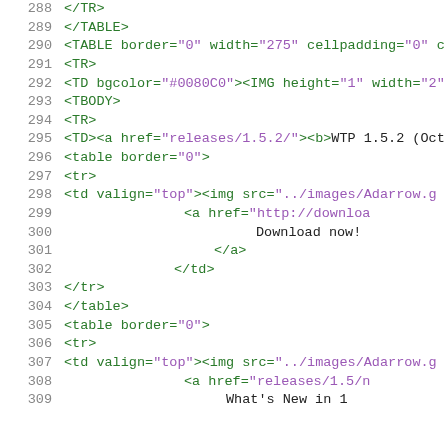[Figure (screenshot): Source code viewer showing HTML/XML code lines numbered 288 through 309, with line numbers in gray on the left and code in green with purple attribute values on a white background.]